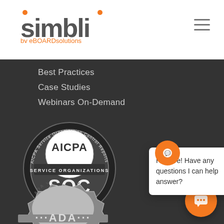[Figure (logo): Simbli logo by eBOARDsolutions with orange dots]
[Figure (other): Hamburger menu icon (three horizontal lines)]
Best Practices
Case Studies
Webinars On-Demand
[Figure (illustration): AICPA Service Organization Control Reports SOC badge, aicpa.org/soc, Formerly SAS 70 Reports]
[Figure (illustration): ADA Compliant badge]
[Figure (other): Orange chat icon bubble]
Hi there! Have any questions I can help answer?
[Figure (other): Orange circular chat button at bottom right]